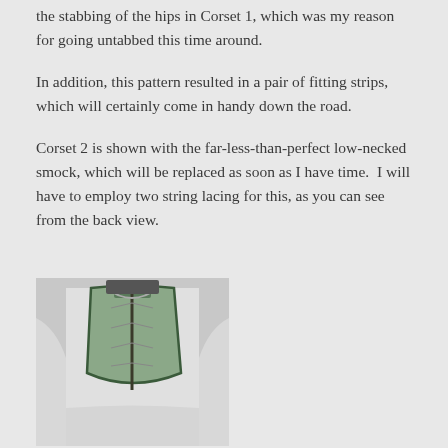the stabbing of the hips in Corset 1, which was my reason for going untabbed this time around.
In addition, this pattern resulted in a pair of fitting strips, which will certainly come in handy down the road.
Corset 2 is shown with the far-less-than-perfect low-necked smock, which will be replaced as soon as I have time.  I will have to employ two string lacing for this, as you can see from the back view.
[Figure (photo): Back view of a person wearing a green corset over a white low-necked smock, showing the lacing at the back.]